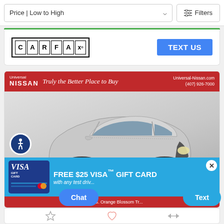Price | Low to High
Filters
[Figure (logo): CARFAX logo in black and white boxes]
TEXT US
[Figure (photo): Silver Nissan Juke SUV photographed in a showroom with a Universal Nissan dealer banner at the top showing 'Truly the Better Place to Buy', Universal-Nissan.com, (407) 926-7000. A promotional banner shows FREE $25 VISA GIFT CARD with any test drive. Address bar shows 12785 S. Orange Blossom Tr.]
FREE $25 VISA™ GIFT CARD
with any test drive
Chat
Text